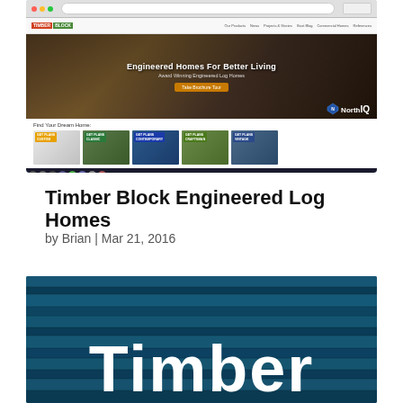[Figure (screenshot): Screenshot of the Timber Block Engineered Log Homes website showing the browser interface with navigation bar, hero image of a log home interior with text 'Engineered Homes For Better Living', home category tiles (Custom, Classic, Contemporary, Craftsman, Vintage), NorthIQ branding, and Mac OS taskbar at the bottom.]
Timber Block Engineered Log Homes
by Brian | Mar 21, 2016
[Figure (photo): Close-up photo of blue-tinted wooden planks/logs with the word 'Timber' in large white bold text overlaid at the bottom.]